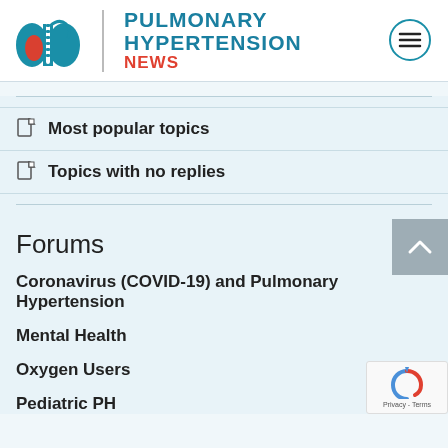[Figure (logo): Pulmonary Hypertension News logo with lungs illustration and site name]
Most popular topics
Topics with no replies
Forums
Coronavirus (COVID-19) and Pulmonary Hypertension
Mental Health
Oxygen Users
Pediatric PH